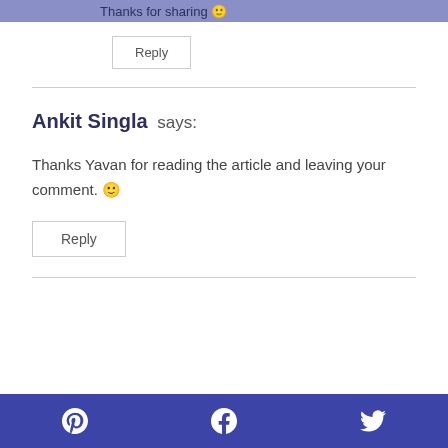Thanks for sharing 🙂
Reply
Ankit Singla says:
Thanks Yavan for reading the article and leaving your comment. 🙂
Reply
Pinterest | Facebook | Twitter social icons